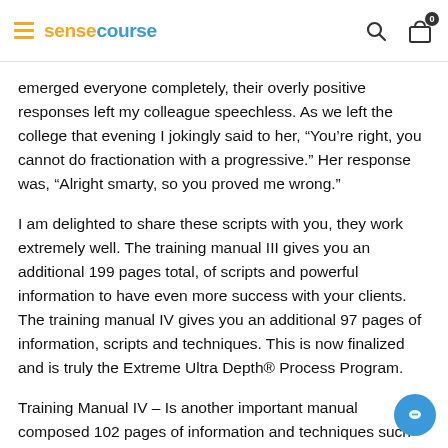sensecourse
emerged everyone completely, their overly positive responses left my colleague speechless. As we left the college that evening I jokingly said to her, “You’re right, you cannot do fractionation with a progressive.” Her response was, “Alright smarty, so you proved me wrong.”
I am delighted to share these scripts with you, they work extremely well. The training manual III gives you an additional 199 pages total, of scripts and powerful information to have even more success with your clients. The training manual IV gives you an additional 97 pages of information, scripts and techniques. This is now finalized and is truly the Extreme Ultra Depth® Process Program.
Training Manual IV – Is another important manual composed 102 pages of information and techniques such as TCT, Arm Drop